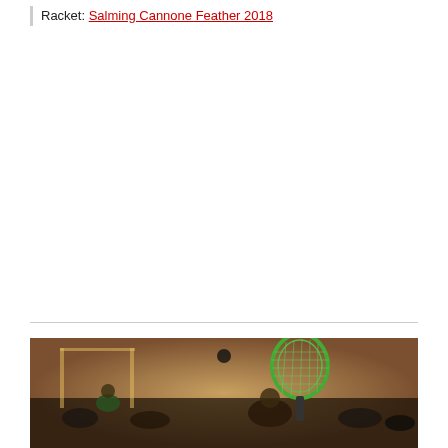Racket: Salming Cannone Feather 2018
[Figure (photo): A squash player holding up a green squash racket in an indoor court with spectators in the background.]